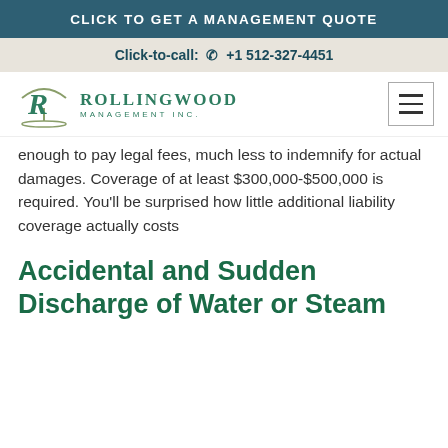CLICK TO GET A MANAGEMENT QUOTE
Click-to-call: +1 512-327-4451
[Figure (logo): Rollingwood Management Inc. logo with stylized R and tree graphic]
enough to pay legal fees, much less to indemnify for actual damages. Coverage of at least $300,000-$500,000 is required. You'll be surprised how little additional liability coverage actually costs
Accidental and Sudden Discharge of Water or Steam